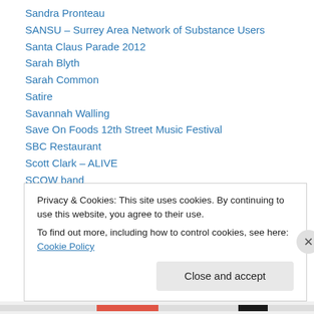Sandra Pronteau
SANSU – Surrey Area Network of Substance Users
Santa Claus Parade 2012
Sarah Blyth
Sarah Common
Satire
Savannah Walling
Save On Foods 12th Street Music Festival
SBC Restaurant
Scott Clark – ALIVE
SCOW band
Screenings
Sean Condon
Privacy & Cookies: This site uses cookies. By continuing to use this website, you agree to their use. To find out more, including how to control cookies, see here: Cookie Policy
Close and accept